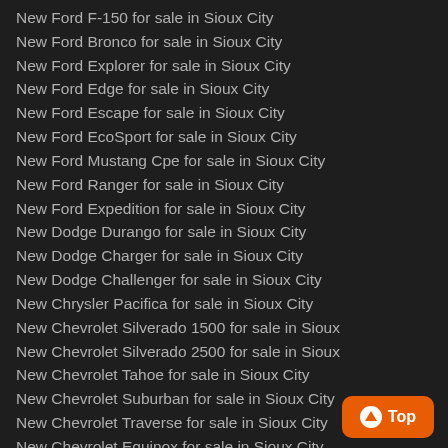New Ford F-150 for sale in Sioux City
New Ford Bronco for sale in Sioux City
New Ford Explorer for sale in Sioux City
New Ford Edge for sale in Sioux City
New Ford Escape for sale in Sioux City
New Ford EcoSport for sale in Sioux City
New Ford Mustang Cpe for sale in Sioux City
New Ford Ranger for sale in Sioux City
New Ford Expedition for sale in Sioux City
New Dodge Durango for sale in Sioux City
New Dodge Charger for sale in Sioux City
New Dodge Challenger for sale in Sioux City
New Chrysler Pacifica for sale in Sioux City
New Chevrolet Silverado 1500 for sale in Sioux
New Chevrolet Silverado 2500 for sale in Sioux
New Chevrolet Tahoe for sale in Sioux City
New Chevrolet Suburban for sale in Sioux City
New Chevrolet Traverse for sale in Sioux City
New Chevrolet Equinox for sale in Sioux City
New Buick Encore for sale in Sioux City
New Buick Enclave for sale in Sioux City
New Buick Envision for sale in Sioux City
New Alfa Romeo Stelvio for sale in Sioux City